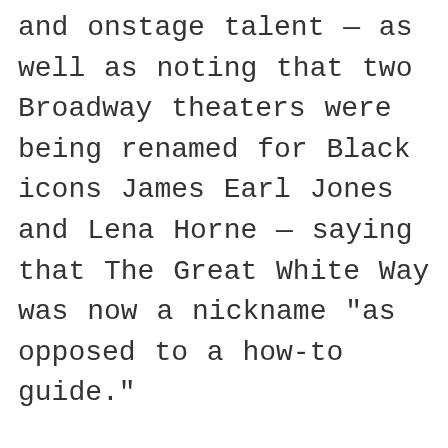and onstage talent — as well as noting that two Broadway theaters were being renamed for Black icons James Earl Jones and Lena Horne — saying that The Great White Way was now a nickname "as opposed to a how-to guide."
DeBose also hailed the heroic efforts of understudies, swings and standbys to keep shows going throughout pandemic spikes, noting that she and